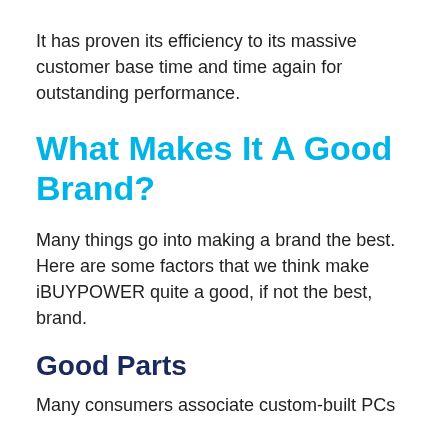It has proven its efficiency to its massive customer base time and time again for outstanding performance.
What Makes It A Good Brand?
Many things go into making a brand the best. Here are some factors that we think make iBUYPOWER quite a good, if not the best, brand.
Good Parts
Many consumers associate custom-built PCs